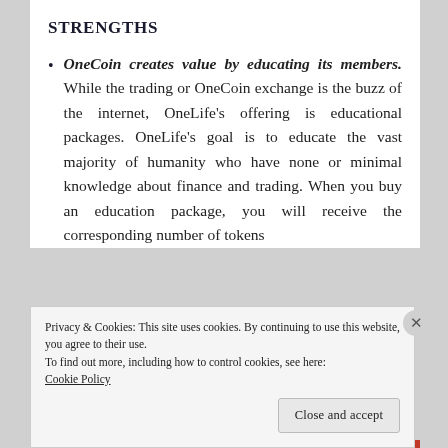STRENGTHS
OneCoin creates value by educating its members. While the trading or OneCoin exchange is the buzz of the internet, OneLife's offering is educational packages. OneLife's goal is to educate the vast majority of humanity who have none or minimal knowledge about finance and trading. When you buy an education package, you will receive the corresponding number of tokens
Privacy & Cookies: This site uses cookies. By continuing to use this website, you agree to their use.
To find out more, including how to control cookies, see here:
Cookie Policy
Close and accept